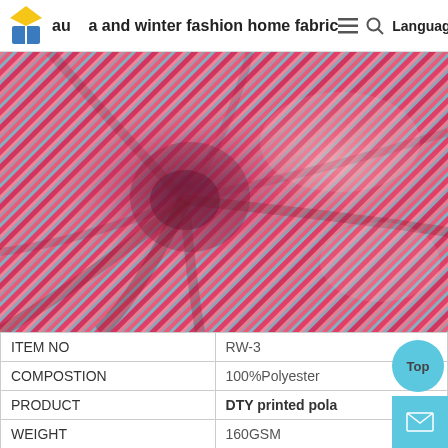au[logo] and winter fashion home fabric  ≡  🔍  Language
[Figure (photo): Close-up photo of striped fabric with pink, blue, and white diagonal stripes, gathered and twisted in the center creating a swirl/fold effect.]
| ITEM NO | RW-3 |
| COMPOSTION | 100%Polyester |
| PRODUCT | DTY printed pola |
| WEIGHT | 160GSM |
| MOQ | 1000M |